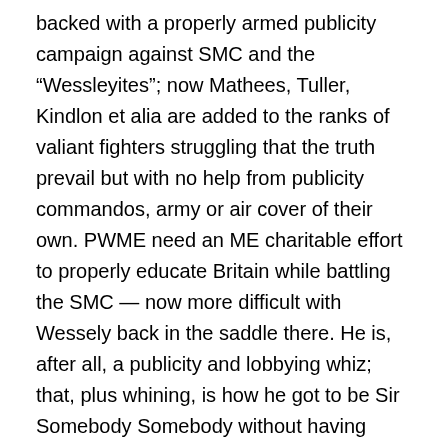backed with a properly armed publicity campaign against SMC and the “Wessleyites”; now Mathees, Tuller, Kindlon et alia are added to the ranks of valiant fighters struggling that the truth prevail but with no help from publicity commandos, army or air cover of their own. PWME need an ME charitable effort to properly educate Britain while battling the SMC — now more difficult with Wessely back in the saddle there. He is, after all, a publicity and lobbying whiz; that, plus whining, is how he got to be Sir Somebody Somebody without having managed any achievement whatsoever in science or medicine.
But of course, one would not want to make a scene by fighting back, would one? Not just to